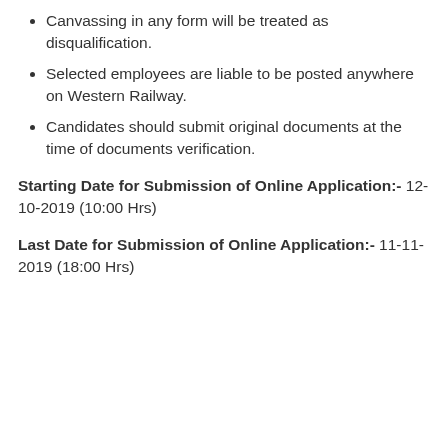Canvassing in any form will be treated as disqualification.
Selected employees are liable to be posted anywhere on Western Railway.
Candidates should submit original documents at the time of documents verification.
Starting Date for Submission of Online Application:- 12-10-2019 (10:00 Hrs)
Last Date for Submission of Online Application:- 11-11-2019 (18:00 Hrs)